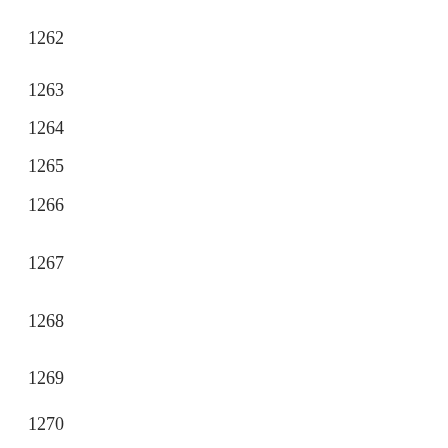1262
1263
1264
1265
1266
1267
1268
1269
1270